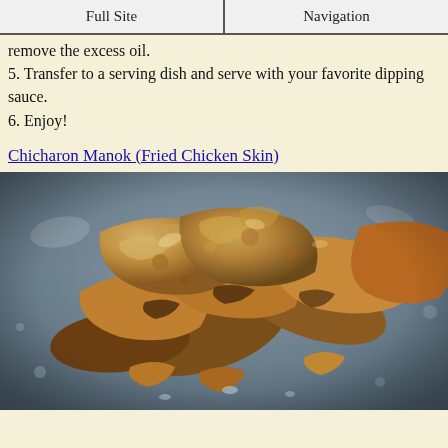Full Site | Navigation
remove the excess oil.
5. Transfer to a serving dish and serve with your favorite dipping sauce.
6. Enjoy!
Chicharon Manok (Fried Chicken Skin)
[Figure (photo): Close-up photo of fried chicken skin (chicharon manok) pieces piled in a metal bowl/tray, showing crispy golden-brown fried chicken skin.]